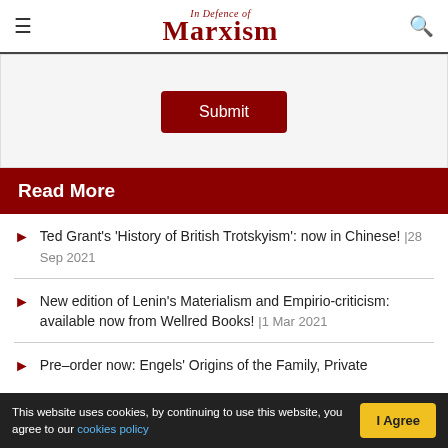In Defence of Marxism
[Figure (screenshot): Submit button on a form area]
Read More
Ted Grant's 'History of British Trotskyism': now in Chinese! |28 Sep 2021
New edition of Lenin's Materialism and Empirio-criticism: available now from Wellred Books! |1 Mar 2021
Pre-order now: Engels' Origins of the Family, Private
This website uses cookies, by continuing to use this website, you agree to our cookies policy